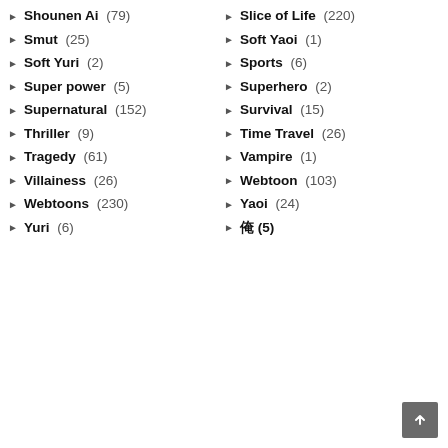Shounen Ai (79)
Slice of Life (220)
Smut (25)
Soft Yaoi (1)
Soft Yuri (2)
Sports (6)
Super power (5)
Superhero (2)
Supernatural (152)
Survival (15)
Thriller (9)
Time Travel (26)
Tragedy (61)
Vampire (1)
Villainess (26)
Webtoon (103)
Webtoons (230)
Yaoi (24)
Yuri (6)
辺りにこ (5)